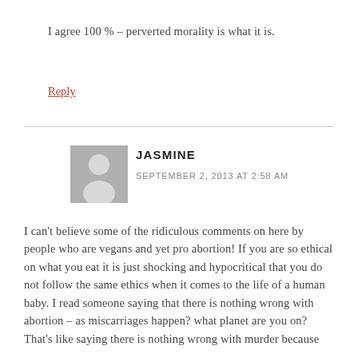I agree 100 % – perverted morality is what it is.
Reply
JASMINE
SEPTEMBER 2, 2013 AT 2:58 AM
I can't believe some of the ridiculous comments on here by people who are vegans and yet pro abortion! If you are so ethical on what you eat it is just shocking and hypocritical that you do not follow the same ethics when it comes to the life of a human baby. I read someone saying that there is nothing wrong with abortion – as miscarriages happen? what planet are you on? That's like saying there is nothing wrong with murder because